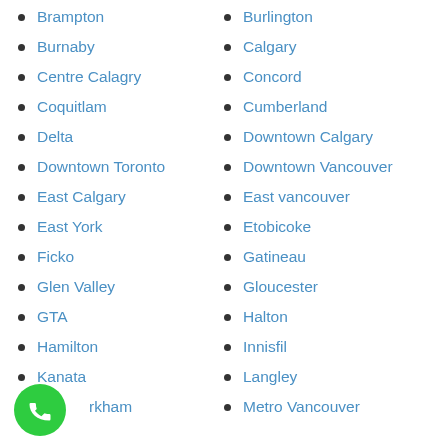Brampton
Burlington
Burnaby
Calgary
Centre Calagry
Concord
Coquitlam
Cumberland
Delta
Downtown Calgary
Downtown Toronto
Downtown Vancouver
East Calgary
East vancouver
East York
Etobicoke
Ficko
Gatineau
Glen Valley
Gloucester
GTA
Halton
Hamilton
Innisfil
Kanata
Langley
Markham
Metro Vancouver